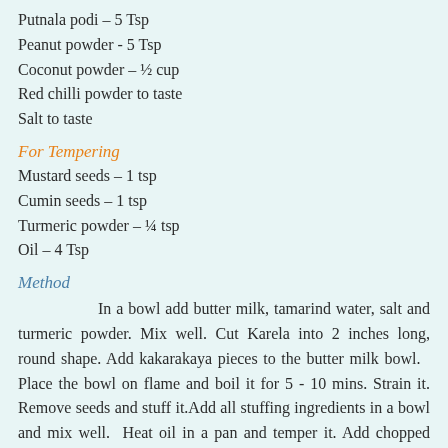Putnala podi – 5 Tsp
Peanut powder - 5 Tsp
Coconut powder – ½ cup
Red chilli powder to taste
Salt to taste
For Tempering
Mustard seeds – 1 tsp
Cumin seeds – 1 tsp
Turmeric powder – ¼ tsp
Oil – 4 Tsp
Method
In a bowl add butter milk, tamarind water, salt and turmeric powder. Mix well. Cut Karela into 2 inches long, round shape. Add kakarakaya pieces to the butter milk bowl.   Place the bowl on flame and boil it for 5 - 10 mins. Strain it. Remove seeds and stuff it.Add all stuffing ingredients in a bowl and mix well.  Heat oil in a pan and temper it. Add chopped onion, green chilli and sort for 3 mins. Add stuffed kakarakaya and cook it on low flame for 20 mins. Serve with roti.